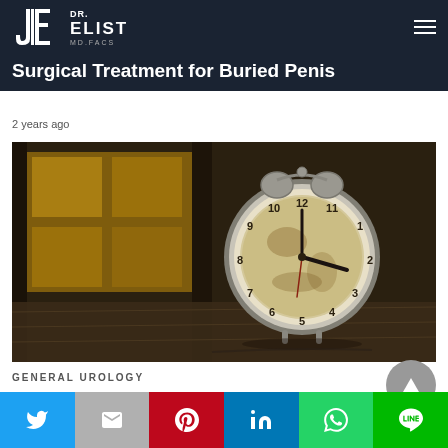Dr. Elist MD.FACS
Surgical Treatment for Buried Penis
2 years ago
[Figure (photo): An old analog alarm clock resting on a surface with blurred yellow and dark background]
GENERAL UROLOGY
Social share bar: Twitter, Gmail, Pinterest, LinkedIn, WhatsApp, LINE